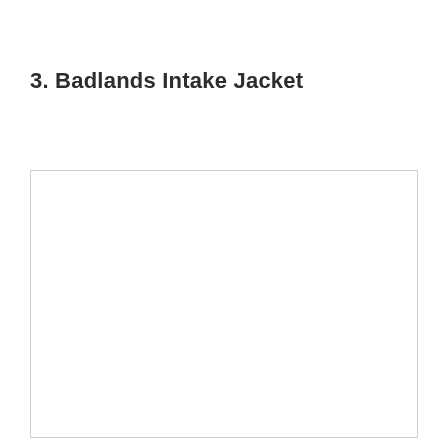3. Badlands Intake Jacket
[Figure (other): Empty white rectangular image placeholder with a light gray border]